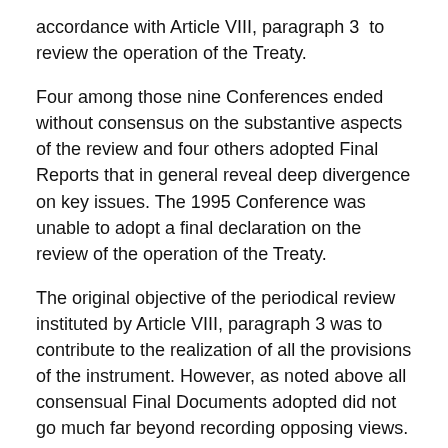accordance with Article VIII, paragraph 3  to review the operation of the Treaty.
Four among those nine Conferences ended without consensus on the substantive aspects of the review and four others adopted Final Reports that in general reveal deep divergence on key issues. The 1995 Conference was unable to adopt a final declaration on the review of the operation of the Treaty.
The original objective of the periodical review instituted by Article VIII, paragraph 3 was to contribute to the realization of all the provisions of the instrument. However, as noted above all consensual Final Documents adopted did not go much far beyond recording opposing views.
The intention behind the adoption of the "strengthened review process" in 1995 was to make possible a thorough exchange of opinions that would look both backwards and forward to serve as the basis for substantive recommendations to be submitted to each Review